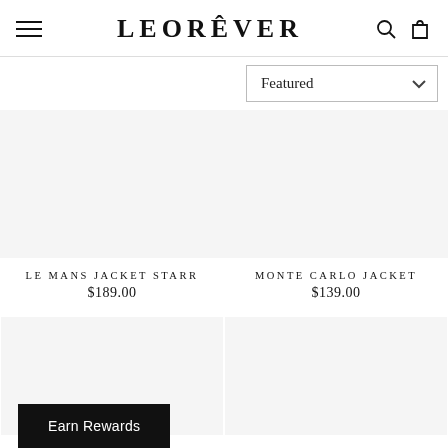LEORÊVER
Featured
LE MANS JACKET STARR
$189.00
MONTE CARLO JACKET
$139.00
Earn Rewards